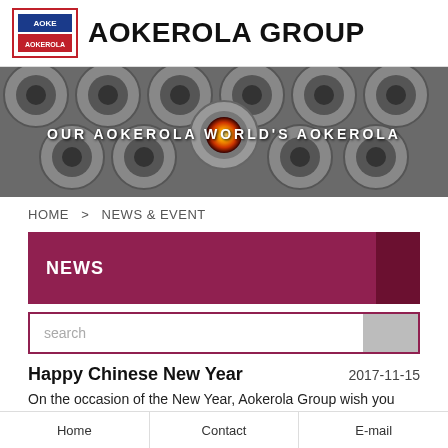[Figure (logo): Aokerola Group logo with red border and company name]
AOKEROLA GROUP
[Figure (photo): Banner image of industrial pipes with one glowing orange center pipe; text reads OUR AOKEROLA WORLD'S AOKEROLA]
HOME > NEWS & EVENT
NEWS
search
Happy Chinese New Year
2017-11-15
On the occasion of the New Year, Aokerola Group wish you and yours our warmest greetings, wishing you a happy NewYear, your career greater
Home   Contact   E-mail